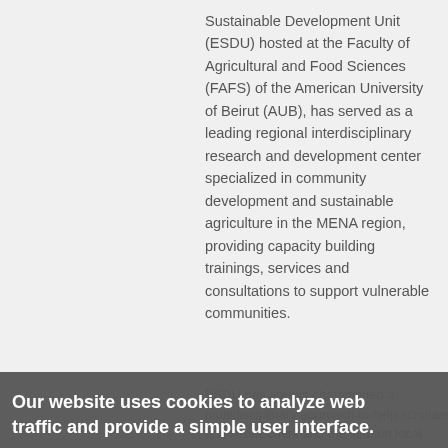Sustainable Development Unit (ESDU) hosted at the Faculty of Agricultural and Food Sciences (FAFS) of the American University of Beirut (AUB), has served as a leading regional interdisciplinary research and development center specialized in community development and sustainable agriculture in the MENA region, providing capacity building trainings, services and consultations to support vulnerable communities.
ESDU has always championed a multidisciplinary approach to help scholars and researchers and the season local people. ESDU focuses on community development and capacity building through: 1) sharing knowledge, skills and
Our website uses cookies to analyze web traffic and provide a simple user interface.
Learn more
Got it!
7 Shares